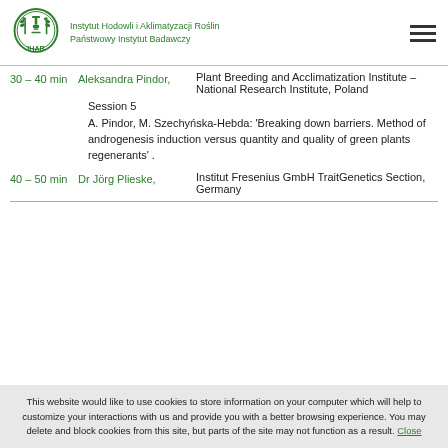[Figure (logo): IHAR institute logo with green circular emblem and text]
Instytut Hodowli i Aklimatyzacji Roślin Państwowy Instytut Badawczy
Plant Breeding and Acclimatization Institute – National Research Institute, Poland
30 – 40 min   Aleksandra Pindor,
Session 5
A. Pindor, M. Szechyńska-Hebda: 'Breaking down barriers. Method of androgenesis induction versus quantity and quality of green plants regenerants' .
40 – 50 min   Dr Jörg Plieske,
Institut Fresenius GmbH TraitGenetics Section, Germany
This website would like to use cookies to store information on your computer which will help to customize your interactions with us and provide you with a better browsing experience. You may delete and block cookies from this site, but parts of the site may not function as a result. Close